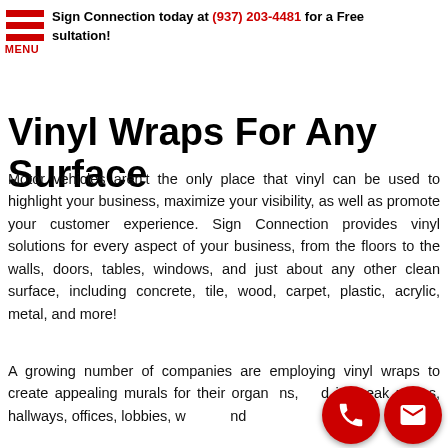Sign Connection today at (937) 203-4481 for a Free Consultation!
Vinyl Wraps For Any Surface
Motor vehicles aren't the only place that vinyl can be used to highlight your business, maximize your visibility, as well as promote your customer experience. Sign Connection provides vinyl solutions for every aspect of your business, from the floors to the walls, doors, tables, windows, and just about any other clean surface, including concrete, tile, wood, carpet, plastic, acrylic, metal, and more!
A growing number of companies are employing vinyl wraps to create appealing murals for their organizations, and in break rooms, hallways, offices, lobbies, w... roo... nd